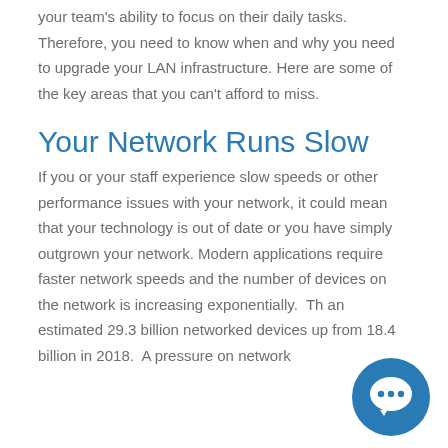your team's ability to focus on their daily tasks. Therefore, you need to know when and why you need to upgrade your LAN infrastructure. Here are some of the key areas that you can't afford to miss.
Your Network Runs Slow
If you or your staff experience slow speeds or other performance issues with your network, it could mean that your technology is out of date or you have simply outgrown your network. Modern applications require faster network speeds and the number of devices on the network is increasing exponentially. Th... an estimated 29.3 billion networked devices... up from 18.4 billion in 2018. A pressure on network